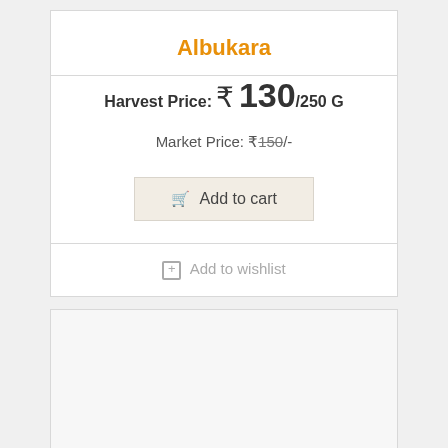Albukara
Harvest Price: ₹ 130/250 G
Market Price: ₹150/-
Add to cart
Add to wishlist